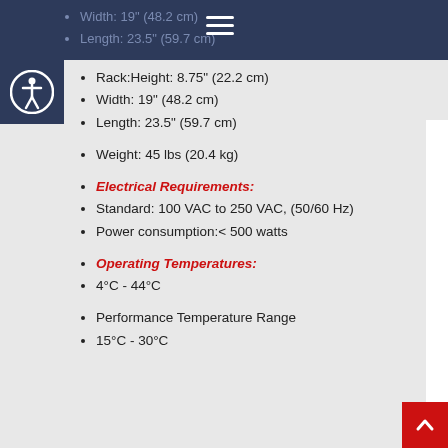Width: 19" (48.2 cm)
Length: 23.5" (59.7 cm)
Rack:Height: 8.75" (22.2 cm)
Width: 19" (48.2 cm)
Length: 23.5" (59.7 cm)
Weight: 45 lbs (20.4 kg)
Electrical Requirements:
Standard: 100 VAC to 250 VAC, (50/60 Hz)
Power consumption:< 500 watts
Operating Temperatures:
4°C - 44°C
Performance Temperature Range
15°C - 30°C